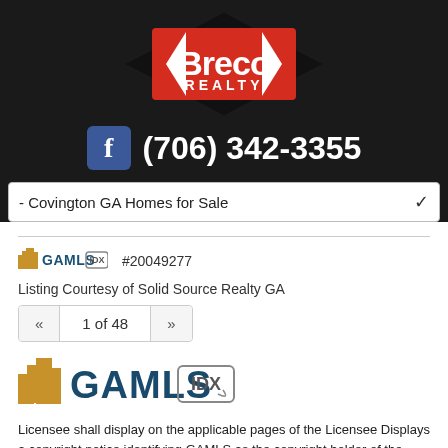[Figure (logo): Breco Realty logo - red diamond shape with white bold text 'Breco' and 'REALTY' underneath on black background]
f  (706) 342-3355
- Covington GA Homes for Sale
#20049277
Listing Courtesy of Solid Source Realty GA
« 1 of 48 »
[Figure (logo): GAMLS IDX logo - large orange/gold building icon with text 'GAMLS' in dark teal and 'IDX' in a box with arrow]
Licensee shall display on the applicable pages of the Licensee Displays a copyright notice identifying GAMLS as the copyright holder of the